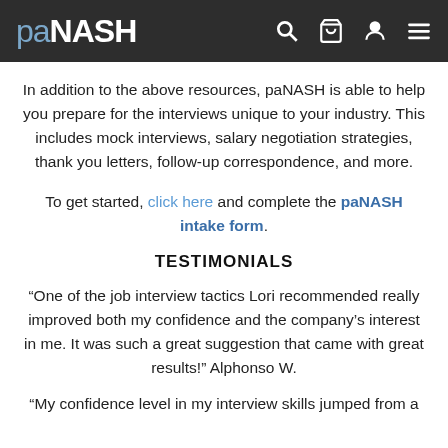paNASH
In addition to the above resources, paNASH is able to help you prepare for the interviews unique to your industry. This includes mock interviews, salary negotiation strategies, thank you letters, follow-up correspondence, and more.
To get started, click here and complete the paNASH intake form.
TESTIMONIALS
“One of the job interview tactics Lori recommended really improved both my confidence and the company’s interest in me. It was such a great suggestion that came with great results!” Alphonso W.
“My confidence level in my interview skills jumped from a